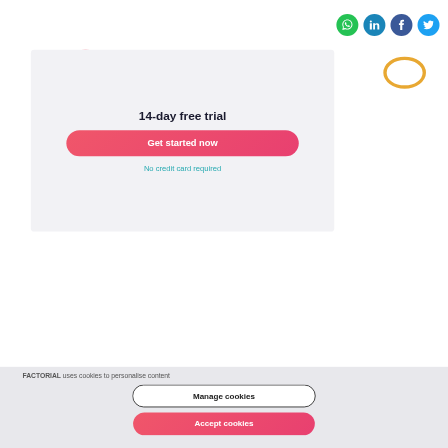[Figure (other): Social media sharing icons: WhatsApp (green), LinkedIn (teal/dark blue), Facebook (dark blue), Twitter (light blue) — circular buttons aligned top-right]
[Figure (other): 14-day free trial promotional card with decorative pink circle and yellow ring at top, dark title text, pink gradient CTA button 'Get started now', and teal subtext 'No credit card required']
FACTORIAL uses cookies to personalise content
Manage cookies
Accept cookies